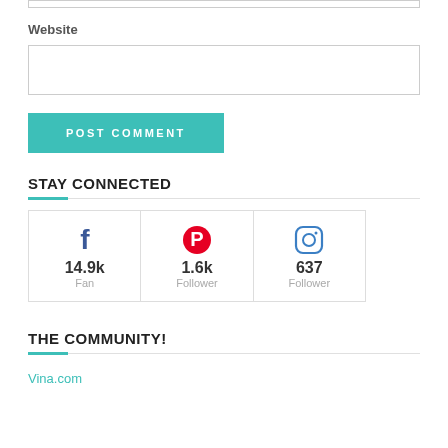Website
POST COMMENT
STAY CONNECTED
| Facebook | Pinterest | Instagram |
| --- | --- | --- |
| 14.9k | 1.6k | 637 |
| Fan | Follower | Follower |
THE COMMUNITY!
Vina.com